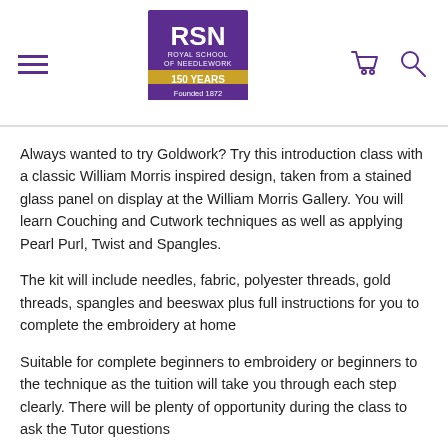[Figure (logo): Royal School of Needlework logo — purple square with RSN text, '150 YEARS' gold banner, 'Founded 1872' text below]
Always wanted to try Goldwork? Try this introduction class with a classic William Morris inspired design, taken from a stained glass panel on display at the William Morris Gallery. You will learn Couching and Cutwork techniques as well as applying Pearl Purl, Twist and Spangles.
The kit will include needles, fabric, polyester threads, gold threads, spangles and beeswax plus full instructions for you to complete the embroidery at home
Suitable for complete beginners to embroidery or beginners to the technique as the tuition will take you through each step clearly. There will be plenty of opportunity during the class to ask the Tutor questions and tips on how to best practice your technique from home.